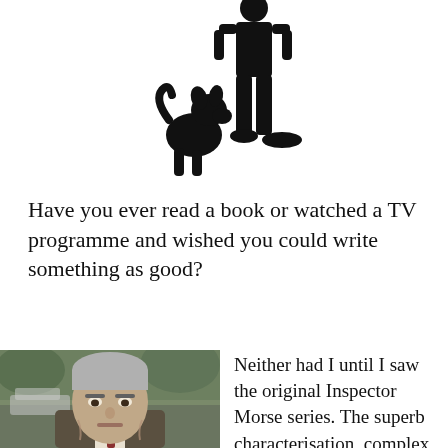[Figure (illustration): Black silhouette of a person standing with a small dog (terrier) sitting beside them]
Have you ever read a book or watched a TV programme and wished you could write something as good?
[Figure (photo): Photograph of an older man with grey/white hair wearing a suit and tie, looking directly at the camera with a serious expression. Appears to be an actor. Background shows greenery and a vehicle.]
Neither had I until I saw the original Inspector Morse series. The superb characterisation, complex and